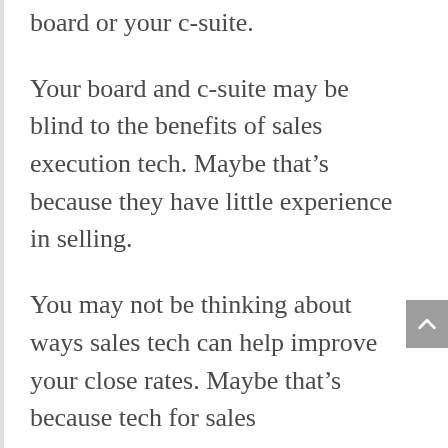board or your c-suite.
Your board and c-suite may be blind to the benefits of sales execution tech. Maybe that’s because they have little experience in selling.
You may not be thinking about ways sales tech can help improve your close rates. Maybe that’s because tech for sales